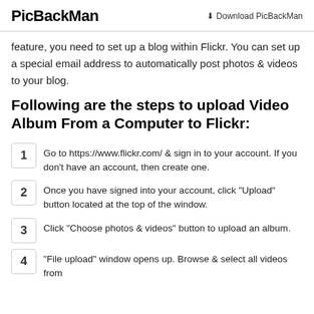PicBackMan   ⬇ Download PicBackMan
feature, you need to set up a blog within Flickr. You can set up a special email address to automatically post photos & videos to your blog.
Following are the steps to upload Video Album From a Computer to Flickr:
1. Go to https://www.flickr.com/ & sign in to your account. If you don't have an account, then create one.
2. Once you have signed into your account, click "Upload" button located at the top of the window.
3. Click "Choose photos & videos" button to upload an album.
4. "File upload" window opens up. Browse & select all videos from